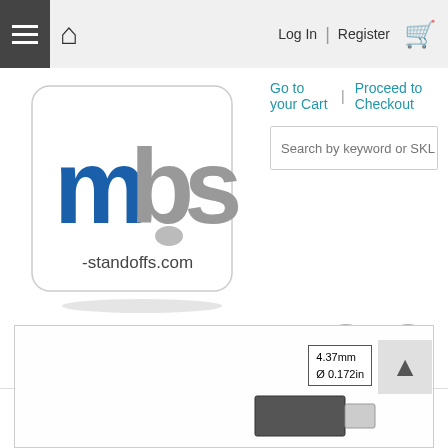Log In | Register
[Figure (logo): mbs-standoffs.com logo - white card with blue and grey stylized 'mbs' text and website URL]
Go to your Cart | Proceed to Checkout
Search by keyword or SKL
[Figure (illustration): Facebook and Twitter social icons as grey circles]
[Figure (engineering-diagram): Product engineering diagram showing standoff with dimension 4.37mm / ø 0.172in]